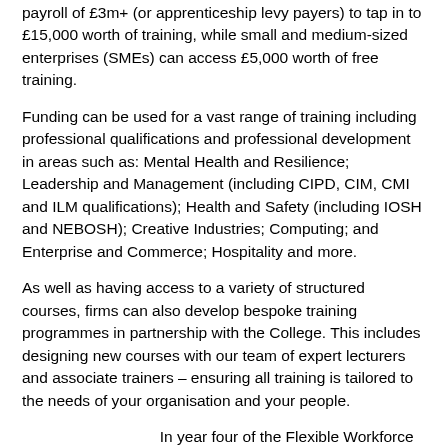payroll of £3m+ (or apprenticeship levy payers) to tap in to £15,000 worth of training, while small and medium-sized enterprises (SMEs) can access £5,000 worth of free training.
Funding can be used for a vast range of training including professional qualifications and professional development in areas such as: Mental Health and Resilience; Leadership and Management (including CIPD, CIM, CMI and ILM qualifications); Health and Safety (including IOSH and NEBOSH); Creative Industries; Computing; and Enterprise and Commerce; Hospitality and more.
As well as having access to a variety of structured courses, firms can also develop bespoke training programmes in partnership with the College. This includes designing new courses with our team of expert lecturers and associate trainers – ensuring all training is tailored to the needs of your organisation and your people.
In year four of the Flexible Workforce Development Fund (academic session 2020/21) to date, 256 employers have benefitted from £1.975m worth of training. Those organisations receiving training operate in sectors of industry including: Professional Services; Hospitality;